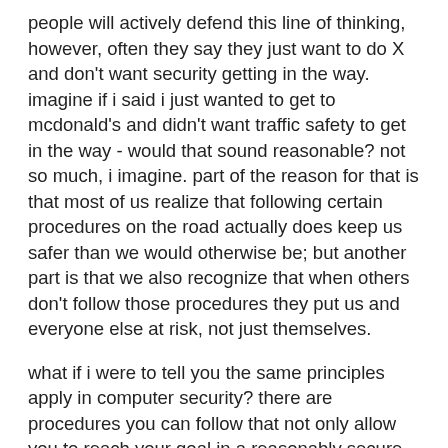people will actively defend this line of thinking, however, often they say they just want to do X and don't want security getting in the way. imagine if i said i just wanted to get to mcdonald's and didn't want traffic safety to get in the way - would that sound reasonable? not so much, i imagine. part of the reason for that is that most of us realize that following certain procedures on the road actually does keep us safer than we would otherwise be; but another part is that we also recognize that when others don't follow those procedures they put us and everyone else at risk, not just themselves.
what if i were to tell you the same principles apply in computer security? there are procedures you can follow that not only allow you to reach your goal in a reasonably secure way (whether that goal is getting work done or enjoying online entertainment or whatever else you use your computer for). not only that but by not following those procedures, by ignoring security, one actually does put other computer users at risk as well. i'm not just talking about other people who use the same computer, either. back in the days of viruses, when a virus infected a computer that computer joined the set of computers from which that virus could